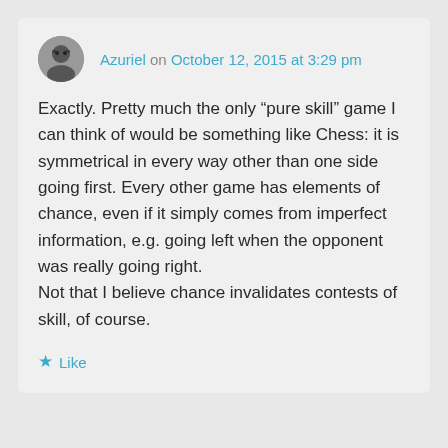Azuriel on October 12, 2015 at 3:29 pm
Exactly. Pretty much the only “pure skill” game I can think of would be something like Chess: it is symmetrical in every way other than one side going first. Every other game has elements of chance, even if it simply comes from imperfect information, e.g. going left when the opponent was really going right.
Not that I believe chance invalidates contests of skill, of course.
★ Like